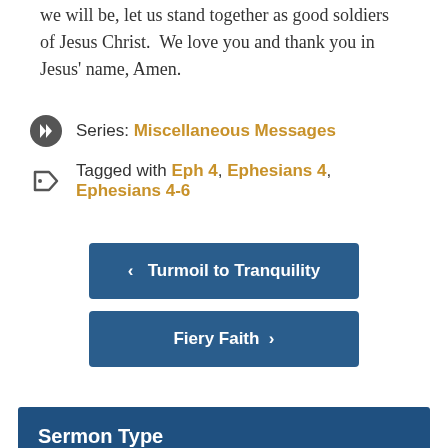we will be, let us stand together as good soldiers of Jesus Christ.  We love you and thank you in Jesus' name, Amen.
Series: Miscellaneous Messages
Tagged with Eph 4, Ephesians 4, Ephesians 4-6
< Turmoil to Tranquility
Fiery Faith >
Sermon Type